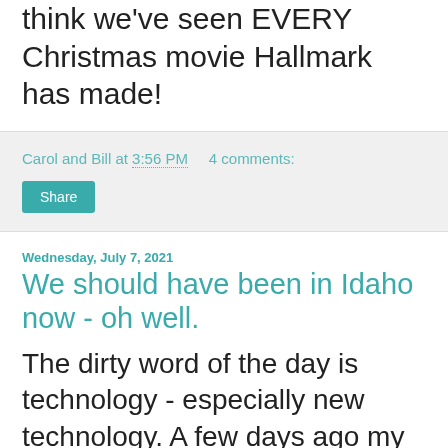requiring masks again. Works for me. I think we've seen EVERY Christmas movie Hallmark has made!
Carol and Bill at 3:56 PM    4 comments:
Share
Wednesday, July 7, 2021
We should have been in Idaho now - oh well.
The dirty word of the day is technology - especially new technology. A few days ago my cell phone updated. Now it does all kinds of strange things it never did